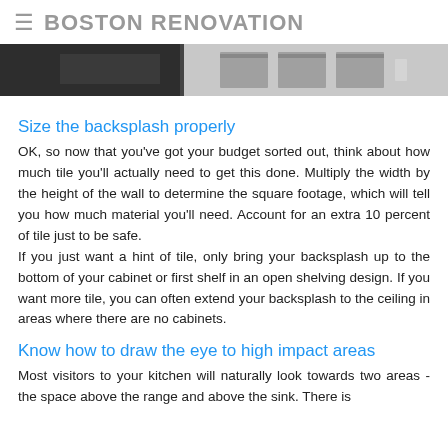BOSTON RENOVATION
[Figure (photo): Kitchen photo showing cabinet drawers and shelving, cropped at top]
Size the backsplash properly
OK, so now that you've got your budget sorted out, think about how much tile you'll actually need to get this done. Multiply the width by the height of the wall to determine the square footage, which will tell you how much material you'll need. Account for an extra 10 percent of tile just to be safe.
If you just want a hint of tile, only bring your backsplash up to the bottom of your cabinet or first shelf in an open shelving design. If you want more tile, you can often extend your backsplash to the ceiling in areas where there are no cabinets.
Know how to draw the eye to high impact areas
Most visitors to your kitchen will naturally look towards two areas - the space above the range and above the sink. There is